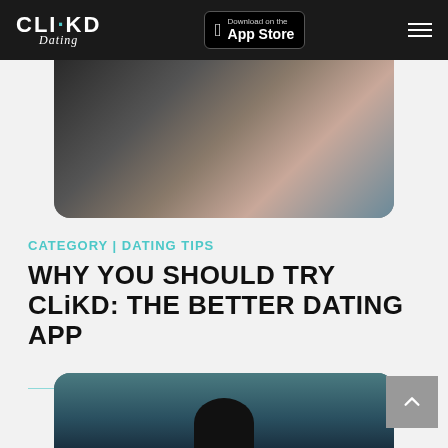CLiKD Dating | Download on the App Store
[Figure (photo): Close-up photo of two people showing tattoos, cropped at shoulders]
CATEGORY | DATING TIPS
WHY YOU SHOULD TRY CLiKD: THE BETTER DATING APP
[Figure (photo): Photo of a person from behind, partially cropped at bottom of page]